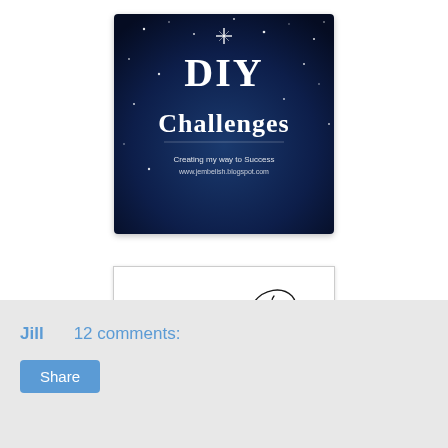[Figure (logo): DIY Challenges blog badge on dark blue starry background with text 'DIY Challenges' and 'Creating my way to Success www.jembelish.blogspot.com']
[Figure (illustration): Cursive handwritten signature reading 'Jill' in black ink on white background]
Jill    12 comments:
Share